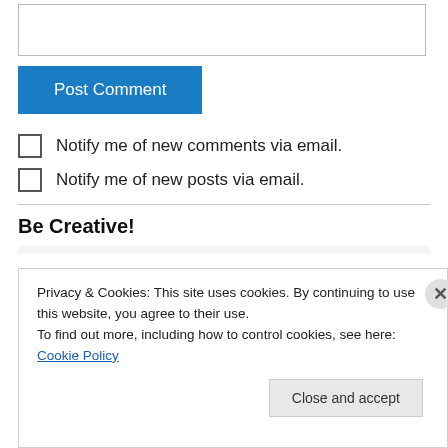[Figure (screenshot): Empty textarea input box for comment form]
Post Comment
Notify me of new comments via email.
Notify me of new posts via email.
Be Creative!
Privacy & Cookies: This site uses cookies. By continuing to use this website, you agree to their use.
To find out more, including how to control cookies, see here: Cookie Policy
Close and accept